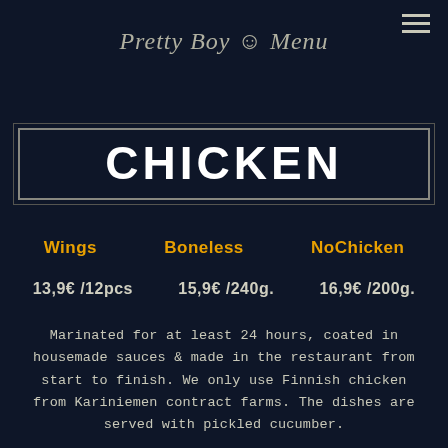Pretty Boy Menu
CHICKEN
Wings  13,9€ /12pcs
Boneless  15,9€ /240g.
NoChicken  16,9€ /200g.
Marinated for at least 24 hours, coated in housemade sauces & made in the restaurant from start to finish. We only use Finnish chicken from Kariniemen contract farms. The dishes are served with pickled cucumber.